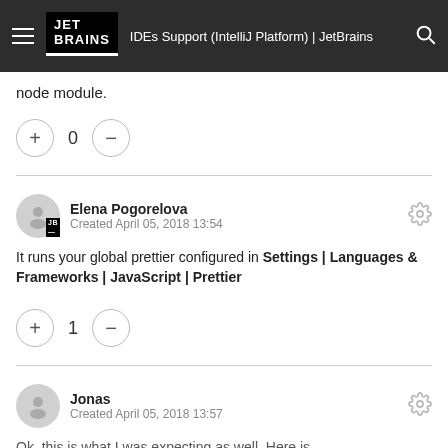IDEs Support (IntelliJ Platform) | JetBrains
node module.
0
Elena Pogorelova
Created April 05, 2018 13:54
It runs your global prettier configured in Settings | Languages & Frameworks | JavaScript | Prettier
1
Jonas
Created April 05, 2018 13:57
Ok, this is what I was expecting as well. Here is